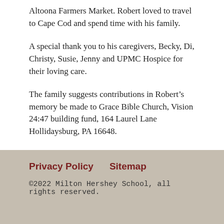Altoona Farmers Market. Robert loved to travel to Cape Cod and spend time with his family.
A special thank you to his caregivers, Becky, Di, Christy, Susie, Jenny and UPMC Hospice for their loving care.
The family suggests contributions in Robert’s memory be made to Grace Bible Church, Vision 24:47 building fund, 164 Laurel Lane Hollidaysburg, PA 16648.
Privacy Policy    Sitemap
©2022 Milton Hershey School, all rights reserved.